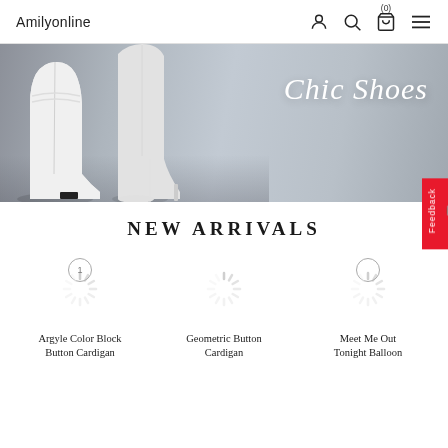Amilyonline
[Figure (photo): Banner image of white high-heel ankle boots on pavement with text 'Chic Shoes' in white italic font on the right side]
NEW ARRIVALS
[Figure (illustration): Loading spinner placeholder for product image - Argyle Color Block Button Cardigan]
Argyle Color Block Button Cardigan
[Figure (illustration): Loading spinner placeholder for product image - Geometric Button Cardigan]
Geometric Button Cardigan
[Figure (illustration): Loading spinner placeholder for product image - Meet Me Out Tonight Balloon]
Meet Me Out Tonight Balloon